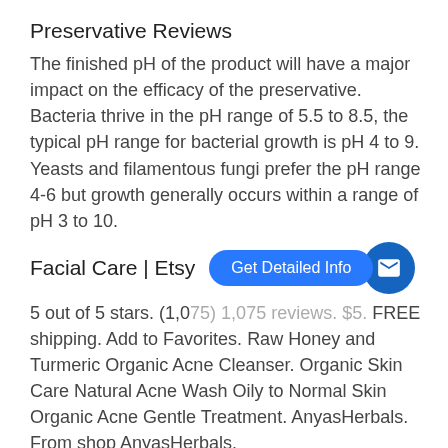Preservative Reviews
The finished pH of the product will have a major impact on the efficacy of the preservative. Bacteria thrive in the pH range of 5.5 to 8.5, the typical pH range for bacterial growth is pH 4 to 9. Yeasts and filamentous fungi prefer the pH range 4-6 but growth generally occurs within a range of pH 3 to 10.
Facial Care | Etsy
[Figure (other): Blue pill-shaped button labeled 'Get Detailed Info' with a blue circle icon containing an envelope/mail symbol]
5 out of 5 stars. (1,075) 1,075 reviews. $5. FREE shipping. Add to Favorites. Raw Honey and Turmeric Organic Acne Cleanser. Organic Skin Care Natural Acne Wash Oily to Normal Skin Organic Acne Gentle Treatment. AnyasHerbals. From shop AnyasHerbals.
Amazon Best Sellers: Best Facial Creams & Moisturizers